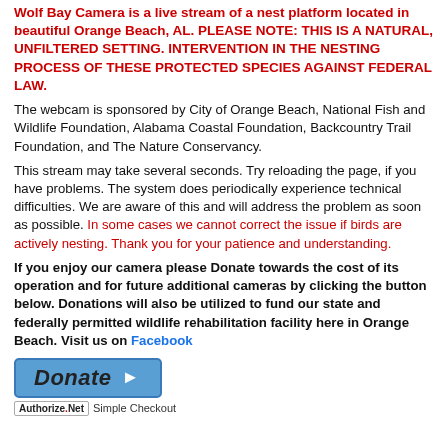Wolf Bay Camera is a live stream of a nest platform located in beautiful Orange Beach, AL. PLEASE NOTE: THIS IS A NATURAL, UNFILTERED SETTING. INTERVENTION IN THE NESTING PROCESS OF THESE PROTECTED SPECIES AGAINST FEDERAL LAW.
The webcam is sponsored by City of Orange Beach, National Fish and Wildlife Foundation, Alabama Coastal Foundation, Backcountry Trail Foundation, and The Nature Conservancy.
This stream may take several seconds. Try reloading the page, if you have problems. The system does periodically experience technical difficulties. We are aware of this and will address the problem as soon as possible. In some cases we cannot correct the issue if birds are actively nesting. Thank you for your patience and understanding.
If you enjoy our camera please Donate towards the cost of its operation and for future additional cameras by clicking the button below. Donations will also be utilized to fund our state and federally permitted wildlife rehabilitation facility here in Orange Beach. Visit us on Facebook
[Figure (other): Donate button with blue background and arrow, followed by Authorize.Net Simple Checkout text]